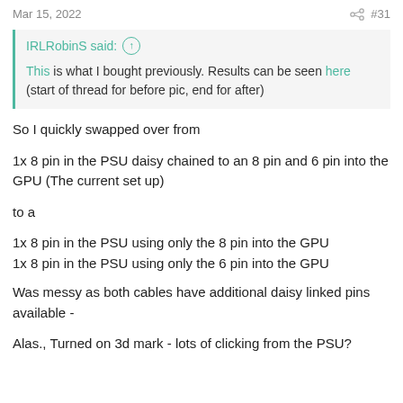Mar 15, 2022  #31
IRLRobinS said: ↑

This is what I bought previously. Results can be seen here (start of thread for before pic, end for after)
So I quickly swapped over from
1x 8 pin in the PSU daisy chained to an 8 pin and 6 pin into the GPU (The current set up)
to a
1x 8 pin in the PSU using only the 8 pin into the GPU
1x 8 pin in the PSU using only the 6 pin into the GPU
Was messy as both cables have additional daisy linked pins available -
Alas., Turned on 3d mark - lots of clicking from the PSU?